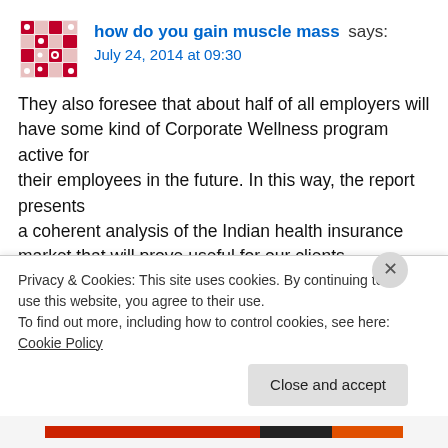[Figure (illustration): Decorative avatar icon with a red and pink geometric/mosaic pattern on white background]
how do you gain muscle mass says:
July 24, 2014 at 09:30
They also foresee that about half of all employers will have some kind of Corporate Wellness program active for their employees in the future. In this way, the report presents a coherent analysis of the Indian health insurance market that will prove useful for our clients. Their exact configuration varies between national and subnational entities
Privacy & Cookies: This site uses cookies. By continuing to use this website, you agree to their use.
To find out more, including how to control cookies, see here: Cookie Policy
Close and accept